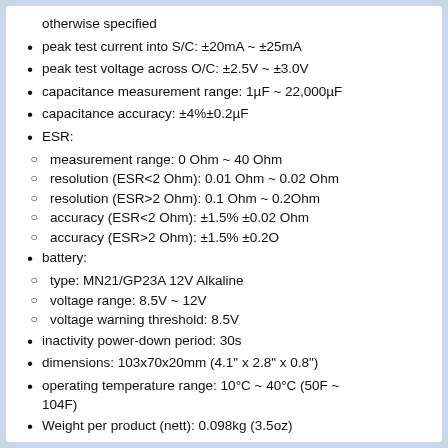otherwise specified
peak test current into S/C: ±20mA ~ ±25mA
peak test voltage across O/C: ±2.5V ~ ±3.0V
capacitance measurement range: 1µF ~ 22,000µF
capacitance accuracy: ±4%±0.2µF
ESR:
measurement range: 0 Ohm ~ 40 Ohm
resolution (ESR<2 Ohm): 0.01 Ohm ~ 0.02 Ohm
resolution (ESR>2 Ohm): 0.1 Ohm ~ 0.2Ohm
accuracy (ESR<2 Ohm): ±1.5% ±0.02 Ohm
accuracy (ESR>2 Ohm): ±1.5% ±0.2O
battery:
type: MN21/GP23A 12V Alkaline
voltage range: 8.5V ~ 12V
voltage warning threshold: 8.5V
inactivity power-down period: 30s
dimensions: 103x70x20mm (4.1" x 2.8" x 0.8")
operating temperature range: 10°C ~ 40°C (50F ~ 104F)
Weight per product (nett): 0.098kg (3.5oz)